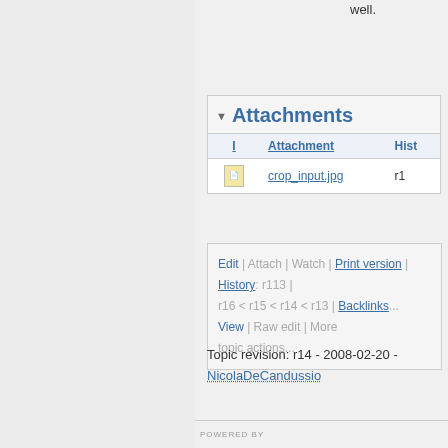well.
Attachments
| I | Attachment | Hist... |
| --- | --- | --- |
| [icon] | crop_input.jpg | r1 |
Edit | Attach | Watch | Print version | History: r113 | r16 < r15 < r14 < r13 | Backlinks... View | Raw edit | More topic actions...
Topic revision: r14 - 2008-02-20 - NicolaDeCandussio